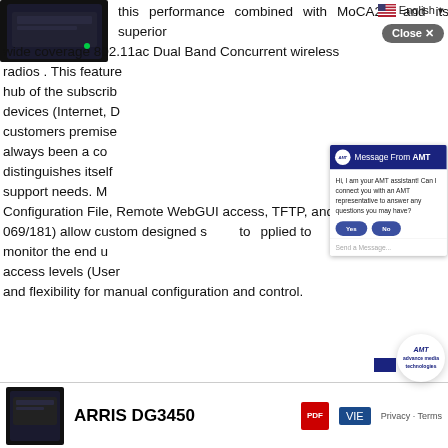[Figure (screenshot): Product image of a networking device (dark rectangular router/modem) in top left corner]
this performance combined with MoCA2.0 and its superior wide coverage 802.11ac Dual Band Concurrent wireless radios . This feature hub of the subscriber devices (Internet, D customers premise always been a co distinguishes itself support needs. M Configuration File, Remote WebGUI access, TFTP, and TR-069/181) allow custom designed s to plied to monitor the end u access levels (User and flexibility for manual configuration and control.
[Figure (screenshot): AMT chat assistant modal popup with dark blue header showing 'Message From AMT', message text asking if user wants to connect with AMT representative, Yes/No buttons, and Send a Message input field]
[Figure (screenshot): Bottom product section showing ARRIS DG3450 product name with small product image on left, PDF icon and VIEW button on right, and Privacy/Terms link]
ARRIS DG3450